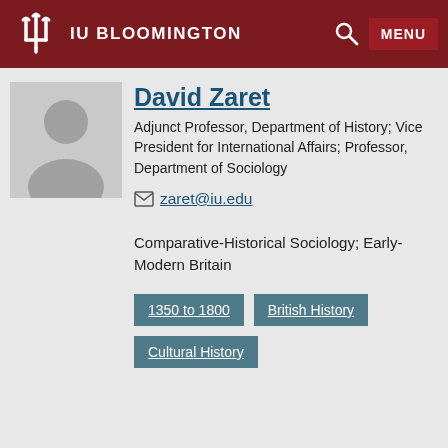IU BLOOMINGTON
David Zaret
Adjunct Professor, Department of History; Vice President for International Affairs; Professor, Department of Sociology
zaret@iu.edu
Comparative-Historical Sociology; Early-Modern Britain
1350 to 1800
British History
Cultural History